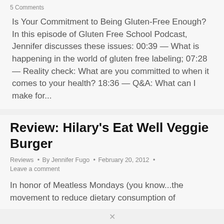5 Comments
Is Your Commitment to Being Gluten-Free Enough? In this episode of Gluten Free School Podcast, Jennifer discusses these issues: 00:39 — What is happening in the world of gluten free labeling; 07:28 — Reality check: What are you committed to when it comes to your health? 18:36 — Q&A: What can I make for...
Review: Hilary's Eat Well Veggie Burger
Reviews • By Jennifer Fugo • February 20, 2012 •
Leave a comment
In honor of Meatless Mondays (you know...the movement to reduce dietary consumption of